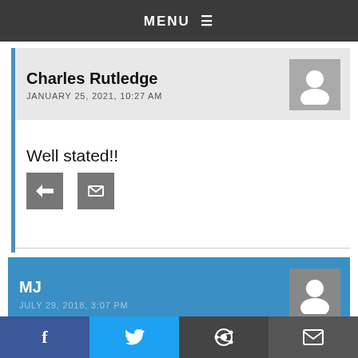MENU ≡
Charles Rutledge
JANUARY 25, 2021, 10:27 AM
Well stated!!
MJ
JULY 29, 2018, 3:07 PM
The NRA evolved into a political faction when the [government] ED them. This forced s those groups
f  [twitter]  [reddit]  [email]